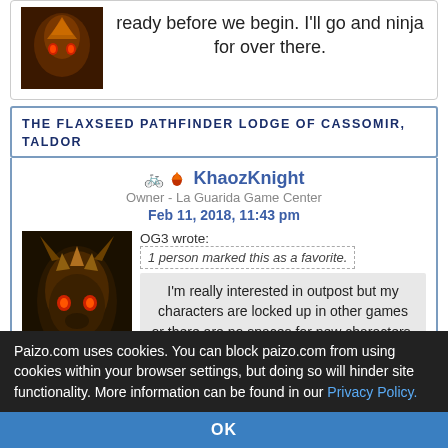ready before we begin. I'll go and ninja for over there.
THE FLAXSEED PATHFINDER LODGE OF CASSOMIR, TALDOR
KhaozKnight
Owner - La Guarida Game Center
Feb 11, 2018, 11:43 pm
OG3 wrote: 1 person marked this as a favorite.
I'm really interested in outpost but my characters are locked up in other games or there are no spaces for new characters. i guess i could pre-gen but is that generally cool with people?
Using a PreGen is cool with people. I've done it =P
But, playing a PreGen to get credit for a character
Paizo.com uses cookies. You can block paizo.com from using cookies within your browser settings, but doing so will hinder site functionality. More information can be found in our Privacy Policy.
OK